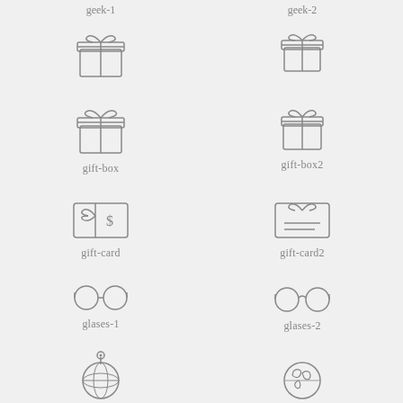[Figure (illustration): geek-1 icon: gift box with bow]
geek-1
[Figure (illustration): geek-2 icon: gift box with bow (smaller)]
geek-2
[Figure (illustration): gift-box icon: wrapped gift box with ribbon and bow]
gift-box
[Figure (illustration): gift-box2 icon: wrapped gift box with ribbon and bow (variant)]
gift-box2
[Figure (illustration): gift-card icon: gift card with bow and dollar sign]
gift-card
[Figure (illustration): gift-card2 icon: gift card with bow and lines]
gift-card2
[Figure (illustration): glases-1 icon: round glasses outline]
glases-1
[Figure (illustration): glases-2 icon: round glasses outline variant]
glases-2
[Figure (illustration): globe with location pin icon]
[Figure (illustration): globe with continents icon]